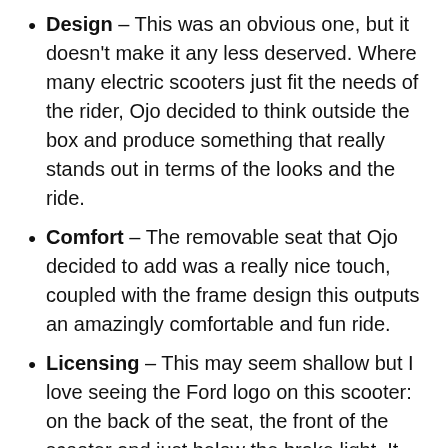Design – This was an obvious one, but it doesn't make it any less deserved. Where many electric scooters just fit the needs of the rider, Ojo decided to think outside the box and produce something that really stands out in terms of the looks and the ride.
Comfort – The removable seat that Ojo decided to add was a really nice touch, coupled with the frame design this outputs an amazingly comfortable and fun ride.
Licensing – This may seem shallow but I love seeing the Ford logo on this scooter: on the back of the seat, the front of the scooter and just below the brake light. It really makes you feel like you're riding something worth